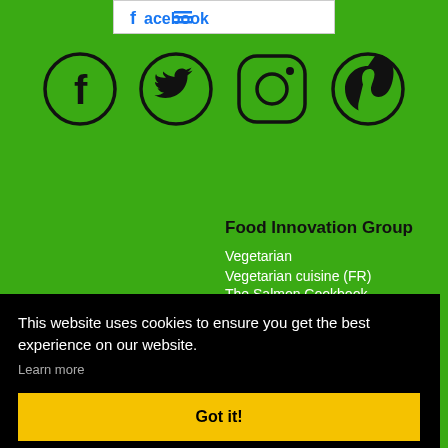[Figure (screenshot): Facebook logo banner at top center, white background with blue Facebook wordmark]
[Figure (other): Four social media icons in circles: Facebook, Twitter, Instagram, Pinterest on green background]
Food Innovation Group
Vegetarian
Vegetarian cuisine (FR)
The Salmon Cookbook
This website uses cookies to ensure you get the best experience on our website.
Learn more
Got it!
(FR)